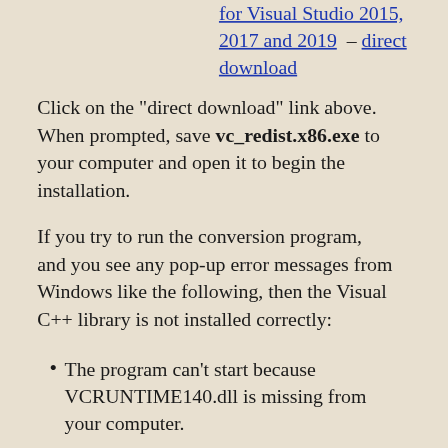for Visual Studio 2015, 2017 and 2019 – direct download
Click on the "direct download" link above. When prompted, save vc_redist.x86.exe to your computer and open it to begin the installation.
If you try to run the conversion program, and you see any pop-up error messages from Windows like the following, then the Visual C++ library is not installed correctly:
The program can't start because VCRUNTIME140.dll is missing from your computer.